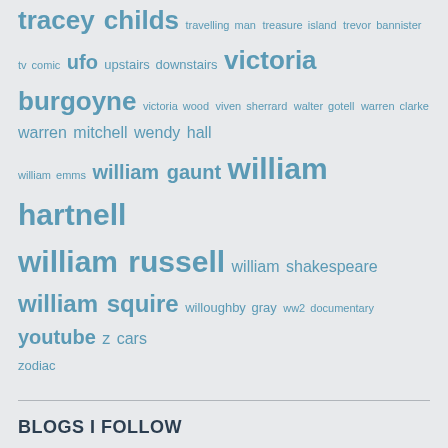tracey childs travelling man treasure island trevor bannister tv comic ufo upstairs downstairs victoria burgoyne victoria wood viven sherrard walter gotell warren clarke warren mitchell wendy hall william emms william gaunt william hartnell william russell william shakespeare william squire willoughby gray ww2 documentary youtube z cars zodiac
BLOGS I FOLLOW
The Green Capsule
Randomwhoness: a Doctor Who blog by Johnny Spandrell.
Harold Pinter: Histories & Legacies
RAVINGS IN CINEMASCOPE
Darren's music blog
The Grandest Game in the World
WATCHING BLAKE'S 7
Theatre Musings.